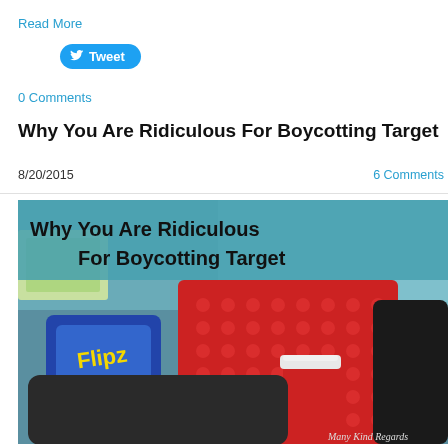Read More
Tweet
0 Comments
Why You Are Ridiculous For Boycotting Target
8/20/2015    6 Comments
[Figure (photo): Photo of Target shopping cart with Flipz White Fudge pretzels bag, a Starbucks red cup, and other items. Overlaid text reads 'Why You Are Ridiculous For Boycotting Target'. Watermark: Many Kind Regards]